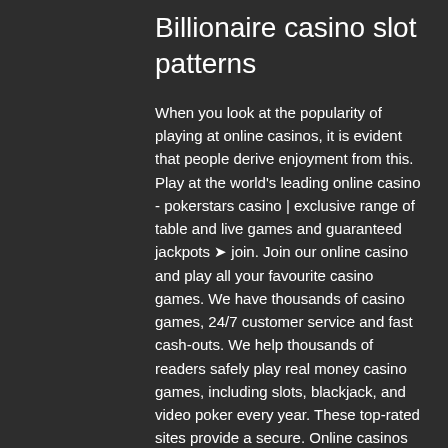Billionaire casino slot patterns
When you look at the popularity of playing at online casinos, it is evident that people derive enjoyment from this. Play at the world's leading online casino - pokerstars casino | exclusive range of table and live games and guaranteed jackpots ➤ join. Join our online casino and play all your favourite casino games. We have thousands of casino games, 24/7 customer service and fast cash-outs. We help thousands of readers safely play real money casino games, including slots, blackjack, and video poker every year. These top-rated sites provide a secure. Online casinos have become very popular at the present time compared to land-based casinos. Many gamblers around the world are beginning to prefer playing. When you sign up at online casinos like 888casino,